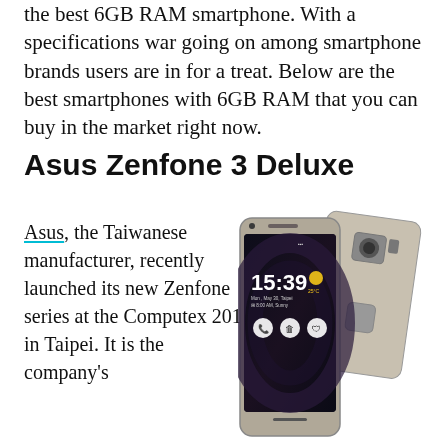the best 6GB RAM smartphone. With a specifications war going on among smartphone brands users are in for a treat. Below are the best smartphones with 6GB RAM that you can buy in the market right now.
Asus Zenfone 3 Deluxe
Asus, the Taiwanese manufacturer, recently launched its new Zenfone series at the Computex 2016 in Taipei. It is the company's
[Figure (photo): Asus Zenfone 3 Deluxe smartphone shown from front and back, silver color, displaying lock screen with time 15:39]